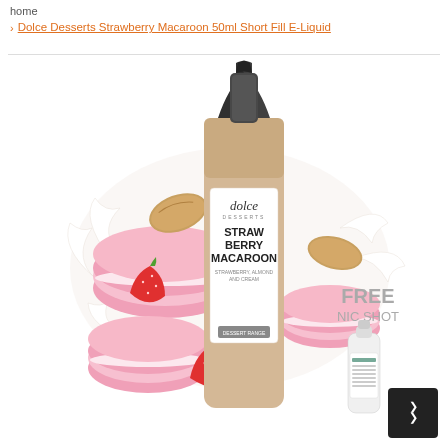home
Dolce Desserts Strawberry Macaroon 50ml Short Fill E-Liquid
[Figure (photo): Product photo of Dolce Desserts Strawberry Macaroon 50ml Short Fill E-Liquid bottle surrounded by pink macaroons, strawberries, almonds, and cream splashes on white background. A small nic shot bottle is visible in the bottom right with 'FREE NIC SHOT' text.]